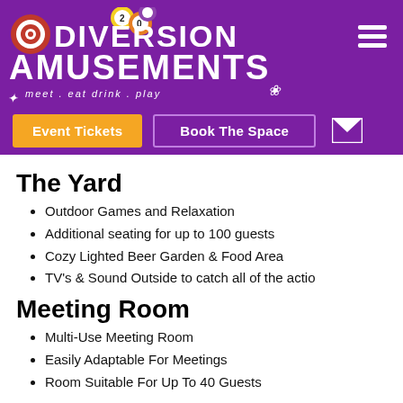Diversion Amusements — meet . eat . drink . play
Event Tickets | Book The Space
The Yard
Outdoor Games and Relaxation
Additional seating for up to 100 guests
Cozy Lighted Beer Garden & Food Area
TV's & Sound Outside to catch all of the actio
Meeting Room
Multi-Use Meeting Room
Easily Adaptable For Meetings
Room Suitable For Up To 40 Guests